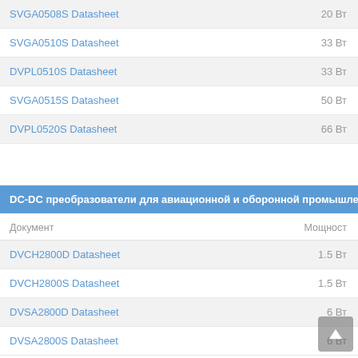| Документ | Мощность |
| --- | --- |
| SVGA0508S Datasheet | 20 Вт |
| SVGA0510S Datasheet | 33 Вт |
| DVPL0510S Datasheet | 33 Вт |
| SVGA0515S Datasheet | 50 Вт |
| DVPL0520S Datasheet | 66 Вт |
DC-DC преобразователи для авиационной и оборонной промышлености
| Документ | Мощность |
| --- | --- |
| DVCH2800D Datasheet | 1.5 Вт |
| DVCH2800S Datasheet | 1.5 Вт |
| DVSA2800D Datasheet | 6 Вт |
| DVSA2800S Datasheet | 6 Вт |